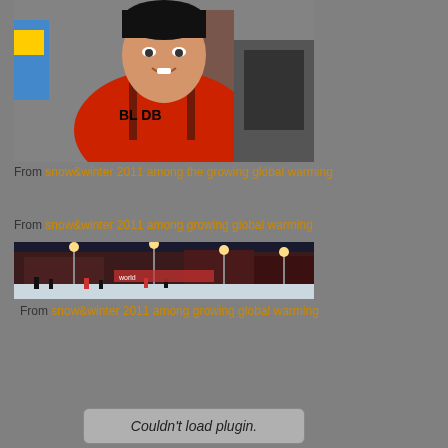[Figure (photo): Young boy in a red jacket indoors, smiling. Text on jacket reads 'BL DB'.]
From snow&winter 2011 among the growing global warming
From snow&winter 2011 among growing global warming
[Figure (photo): Nighttime outdoor scene with snow-covered ground, city buildings with lights, and people walking.]
From snow&winter 2011 among growing global warming
Couldn't load plugin.